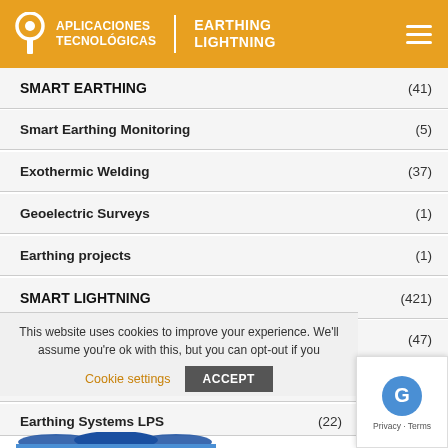APLICACIONES TECNOLÓGICAS | EARTHING LIGHTNING
SMART EARTHING (41)
Smart Earthing Monitoring (5)
Exothermic Welding (37)
Geoelectric Surveys (1)
Earthing projects (1)
SMART LIGHTNING (421)
Storm Detection (47)
Smart ESE Lightning Rods (133)
Earthing Systems LPS (22)
This website uses cookies to improve your experience. We'll assume you're ok with this, but you can opt-out if you
Cookie settings   ACCEPT